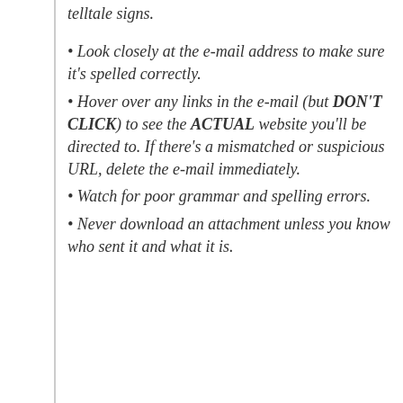telltale signs.
Look closely at the e-mail address to make sure it's spelled correctly.
Hover over any links in the e-mail (but DON'T CLICK) to see the ACTUAL website you'll be directed to. If there's a mismatched or suspicious URL, delete the e-mail immediately.
Watch for poor grammar and spelling errors.
Never download an attachment unless you know who sent it and what it is.